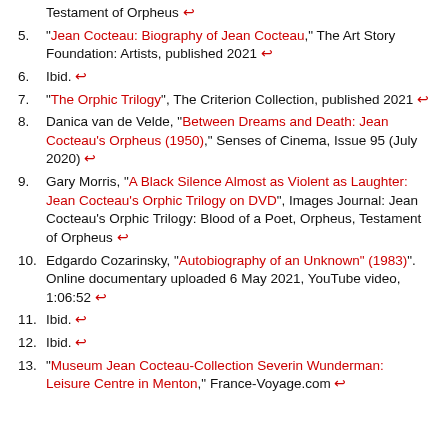Testament of Orpheus ↩
5. “Jean Cocteau: Biography of Jean Cocteau,” The Art Story Foundation: Artists, published 2021 ↩
6. Ibid. ↩
7. “The Orphic Trilogy”, The Criterion Collection, published 2021 ↩
8. Danica van de Velde, “Between Dreams and Death: Jean Cocteau’s Orpheus (1950),” Senses of Cinema, Issue 95 (July 2020) ↩
9. Gary Morris, “A Black Silence Almost as Violent as Laughter: Jean Cocteau’s Orphic Trilogy on DVD”, Images Journal: Jean Cocteau’s Orphic Trilogy: Blood of a Poet, Orpheus, Testament of Orpheus ↩
10. Edgardo Cozarinsky, “Autobiography of an Unknown” (1983)”. Online documentary uploaded 6 May 2021, YouTube video, 1:06:52 ↩
11. Ibid. ↩
12. Ibid. ↩
13. “Museum Jean Cocteau-Collection Severin Wunderman: Leisure Centre in Menton,” France-Voyage.com ↩